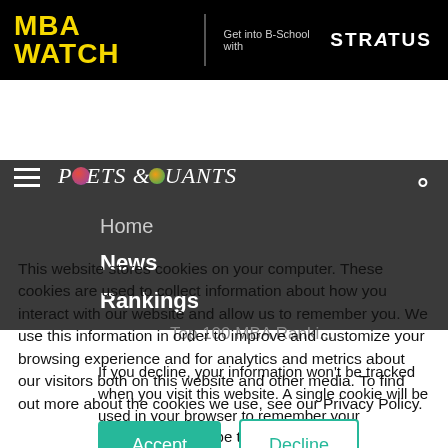MBA WATCH | Get into B-School with STRATUS
[Figure (logo): Poets & Quants logo with navigation menu showing Home, News, Rankings and search icon on dark background]
This website stores cookies on your computer. These cookies are used to collect information about how you interact with our website and allow us to remember you. We use this information in order to improve and customize your browsing experience and for analytics and metrics about our visitors both on this website and other media. To find out more about the cookies we use, see our Privacy Policy.
If you decline, your information won't be tracked when you visit this website. A single cookie will be used in your browser to remember your preference not to be tracked.